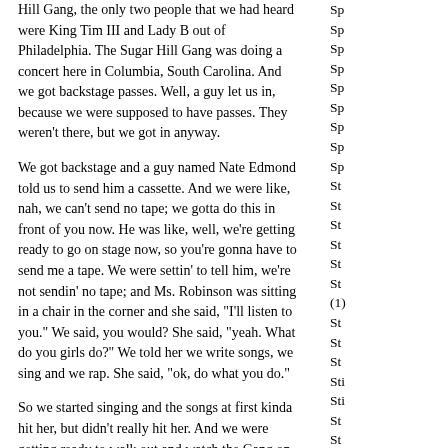Hill Gang, the only two people that we had heard were King Tim III and Lady B out of Philadelphia. The Sugar Hill Gang was doing a concert here in Columbia, South Carolina. And we got backstage passes. Well, a guy let us in, because we were supposed to have passes. They weren't there, but we got in anyway.
We got backstage and a guy named Nate Edmond told us to send him a cassette. And we were like, nah, we can't send no tape; we gotta do this in front of you now. He was like, well, we're getting ready to go on stage now, so you're gonna have to send me a tape. We were settin' to tell him, we're not sendin' no tape; and Ms. Robinson was sitting in a chair in the corner and she said, "I'll listen to you." We said, you would? She said, "yeah. What do you girls do?" We told her we write songs, we sing and we rap. She said, "ok, do what you do."
So we started singing and the songs at first kinda hit her, but didn't really hit her. And we were getting ready to walk out and watch the Gang on stage, and I don't know whether it was Angie or Gwen who said, "but we didn't do 'Funk You Up'." And she said, "well, come back in here and do it." So we came in and started singing, "we're gonna funk you, right on up, gonna funk you right on up. Get up, get up, get up, get up, get up, get up, get up, sit back down!" She said, stop, don't sing no more."
She stopped the band from getting up on stage. She stopped
Sp
Sp
Sp
Sp
Sp
Sp
Sp
Sp
Sp
St
St
St
St
St
St
(1)
St
St
St
Sti
Sti
St
St
St
St